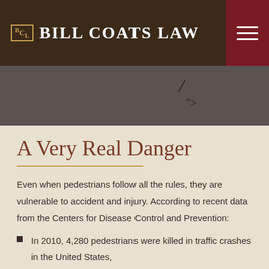[Figure (logo): Bill Coats Law logo with BCL badge on dark brown header bar with hamburger menu button on dark red background]
A Very Real Danger
Even when pedestrians follow all the rules, they are vulnerable to accident and injury. According to recent data from the Centers for Disease Control and Prevention:
In 2010, 4,280 pedestrians were killed in traffic crashes in the United States,